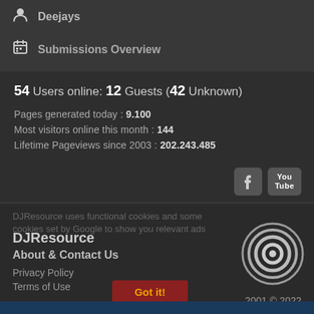Deejays
Submissions Overview
54 Users online: 12 Guests (42 Unknown)
Pages generated today : 9.100
Most visitors online this month : 144
Lifetime Pageviews since 2003 : 202.243.485
[Figure (logo): Facebook icon and YouTube icon social media buttons]
DJResource uses functional cookies and some cookies set by Google to show you relevant ads
DJResource
About & Contact Us
Privacy Policy
Terms of Use
Got it!
2001 © 2022
[Figure (logo): DJResource circular spiral logo in white/grey]